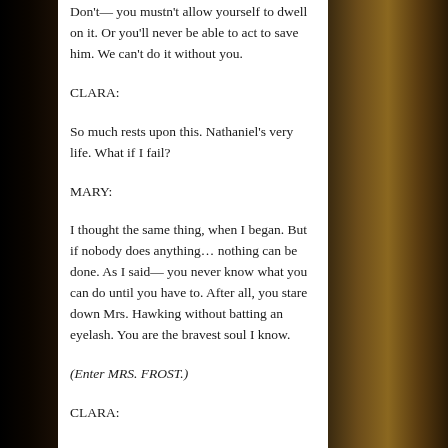Don't— you mustn't allow yourself to dwell on it. Or you'll never be able to act to save him. We can't do it without you.
CLARA:
So much rests upon this. Nathaniel's very life. What if I fail?
MARY:
I thought the same thing, when I began. But if nobody does anything… nothing can be done. As I said— you never know what you can do until you have to. After all, you stare down Mrs. Hawking without batting an eyelash. You are the bravest soul I know.
(Enter MRS. FROST.)
CLARA: